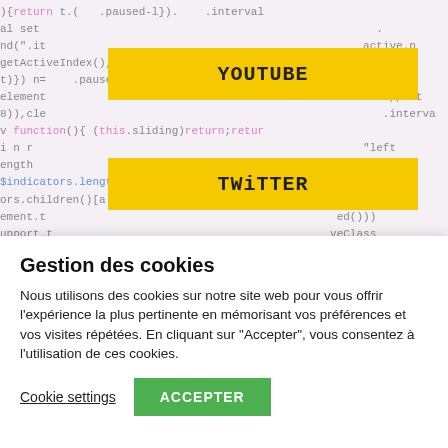[Figure (screenshot): Screenshot of a webpage showing social media navigation buttons (YouTube, Twitter, Instagram, TikTok) displayed as yellow buttons over a code background, with a cookie consent dialog overlaid at the bottom.]
Gestion des cookies
Nous utilisons des cookies sur notre site web pour vous offrir l'expérience la plus pertinente en mémorisant vos préférences et vos visites répétées. En cliquant sur "Accepter", vous consentez à l'utilisation de ces cookies.
Cookie settings
ACCEPTER